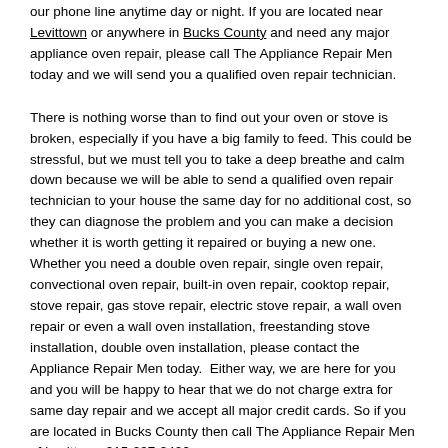our phone line anytime day or night. If you are located near Levittown or anywhere in Bucks County and need any major appliance oven repair, please call The Appliance Repair Men today and we will send you a qualified oven repair technician.
There is nothing worse than to find out your oven or stove is broken, especially if you have a big family to feed. This could be stressful, but we must tell you to take a deep breathe and calm down because we will be able to send a qualified oven repair technician to your house the same day for no additional cost, so they can diagnose the problem and you can make a decision whether it is worth getting it repaired or buying a new one. Whether you need a double oven repair, single oven repair, convectional oven repair, built-in oven repair, cooktop repair, stove repair, gas stove repair, electric stove repair, a wall oven repair or even a wall oven installation, freestanding stove installation, double oven installation, please contact the Appliance Repair Men today.  Either way, we are here for you and you will be happy to hear that we do not charge extra for same day repair and we accept all major credit cards. So if you are located in Bucks County then call The Appliance Repair Men of Levittown 215-297-3406.
If your oven breaks down before any of our busiest seasons like Thanksgiving, Christmas or Easter, please make sure you do not wait until the last minute to schedule an appointment especially if you are located outside of Levittown.
Everyone has a busy schedule these days so we make sure to get your oven